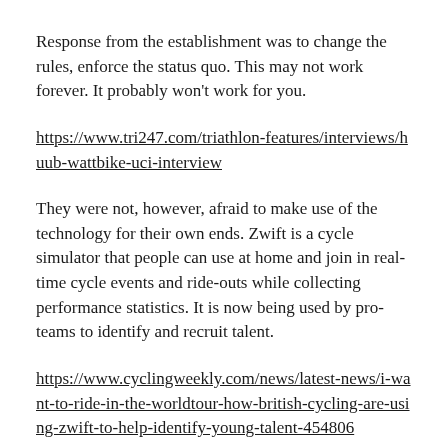Response from the establishment was to change the rules, enforce the status quo. This may not work forever. It probably won't work for you.
https://www.tri247.com/triathlon-features/interviews/huub-wattbike-uci-interview
They were not, however, afraid to make use of the technology for their own ends. Zwift is a cycle simulator that people can use at home and join in real-time cycle events and ride-outs while collecting performance statistics. It is now being used by pro-teams to identify and recruit talent.
https://www.cyclingweekly.com/news/latest-news/i-want-to-ride-in-the-worldtour-how-british-cycling-are-using-zwift-to-help-identify-young-talent-454806